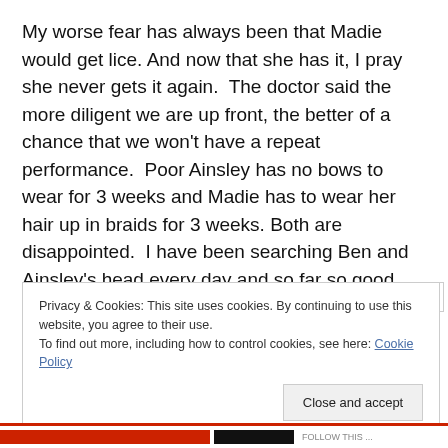My worse fear has always been that Madie would get lice. And now that she has it, I pray she never gets it again. The doctor said the more diligent we are up front, the better of a chance that we won't have a repeat performance. Poor Ainsley has no bows to wear for 3 weeks and Madie has to wear her hair up in braids for 3 weeks. Both are disappointed. I have been searching Ben and Ainsley's head every day and so far so good. No lice.
Privacy & Cookies: This site uses cookies. By continuing to use this website, you agree to their use. To find out more, including how to control cookies, see here: Cookie Policy
Close and accept